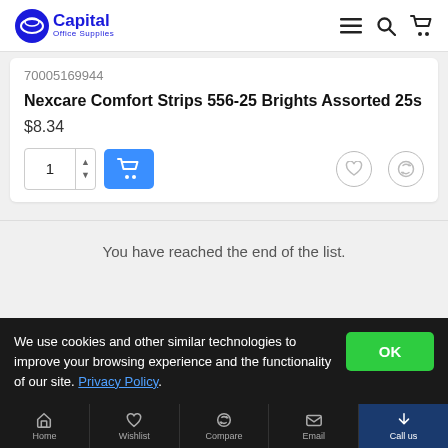Capital Office Supplies
70005169944
Nexcare Comfort Strips 556-25 Brights Assorted 25s
$8.34
You have reached the end of the list.
We use cookies and other similar technologies to improve your browsing experience and the functionality of our site. Privacy Policy.
Home   Wishlist   Compare   Email   Call us